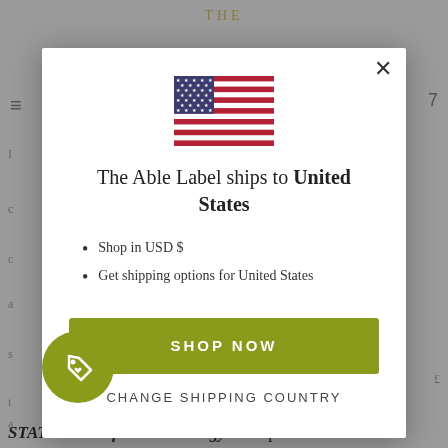THE
[Figure (screenshot): A modal dialog on a retail website showing a US flag, shipping country notification, and shop now button]
The Able Label ships to United States
Shop in USD $
Get shipping options for United States
SHOP NOW
CHANGE SHIPPING COUNTRY
STATIC silver fibre technology to help with